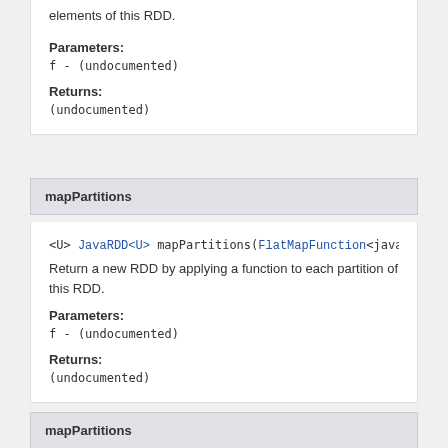elements of this RDD.
Parameters:
f - (undocumented)
Returns:
(undocumented)
mapPartitions
<U> JavaRDD<U> mapPartitions(FlatMapFunction<java...
Return a new RDD by applying a function to each partition of this RDD.
Parameters:
f - (undocumented)
Returns:
(undocumented)
mapPartitions